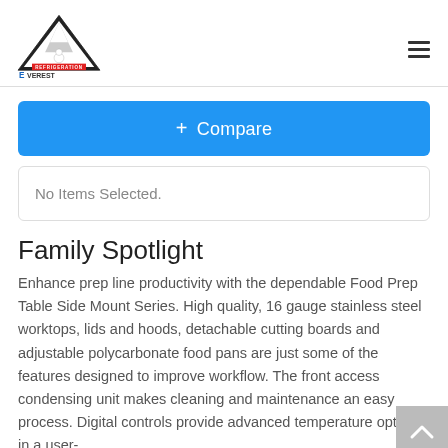Everest Refrigeration logo and navigation menu
+ Compare
No Items Selected.
Family Spotlight
Enhance prep line productivity with the dependable Food Prep Table Side Mount Series. High quality, 16 gauge stainless steel worktops, lids and hoods, detachable cutting boards and adjustable polycarbonate food pans are just some of the features designed to improve workflow. The front access condensing unit makes cleaning and maintenance an easy process. Digital controls provide advanced temperature options in a user-